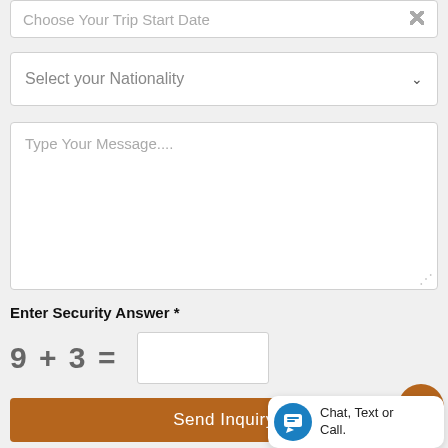Choose Your Trip Start Date
Select your Nationality
Type Your Message....
Enter Security Answer *
Send Inquiry
Chat, Text or Call.